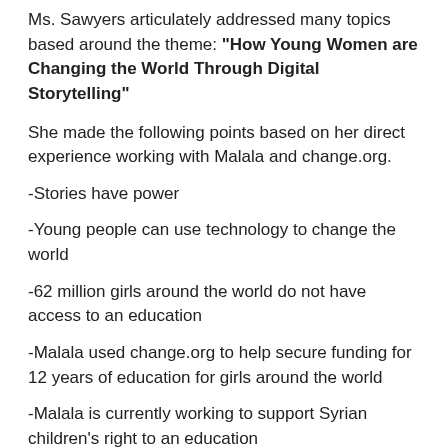Ms. Sawyers articulately addressed many topics based around the theme: “How Young Women are Changing the World Through Digital Storytelling”
She made the following points based on her direct experience working with Malala and change.org.
-Stories have power
-Young people can use technology to change the world
-62 million girls around the world do not have access to an education
-Malala used change.org to help secure funding for 12 years of education for girls around the world
-Malala is currently working to support Syrian children’s right to an education